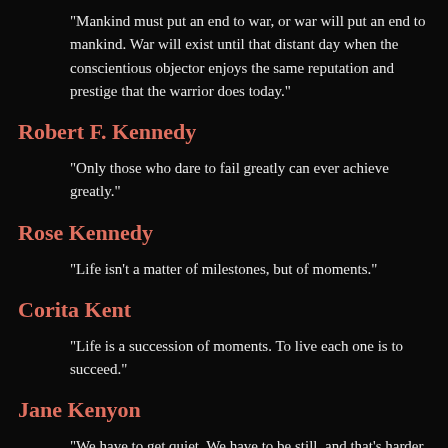"Mankind must put an end to war, or war will put an end to mankind. War will exist until that distant day when the conscientious objector enjoys the same reputation and prestige that the warrior does today."
Robert F. Kennedy
"Only those who dare to fail greatly can ever achieve greatly."
Rose Kennedy
"Life isn't a matter of milestones, but of moments."
Corita Kent
"Life is a succession of moments. To live each one is to succeed."
Jane Kenyon
"We have to get quiet. We have to be still, and that's harder and harder in this century."
Jack Kerouac
"I don't know. I don't care. And it doesn't make any difference."
"Zen is the madman yelling 'If you wanta tell me that the stars are